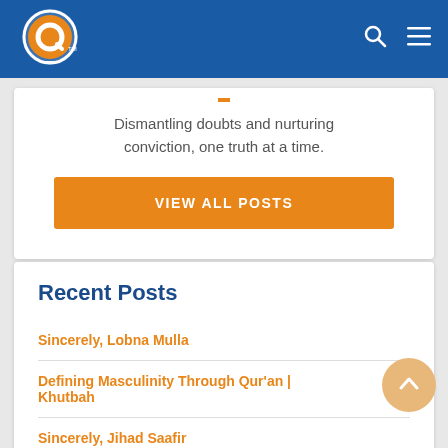Navigation bar with logo and icons
Dismantling doubts and nurturing conviction, one truth at a time.
VIEW ALL POSTS
Recent Posts
Sincerely, Lobna Mulla
Defining Masculinity Through Qur'an | Khutbah
Sincerely, Jihad Saafir